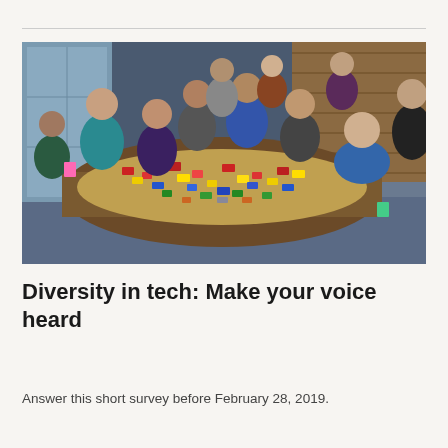[Figure (photo): Group of diverse people standing around a large table covered with colorful LEGO bricks in an office setting, engaged in a team building activity.]
Diversity in tech: Make your voice heard
Answer this short survey before February 28, 2019.